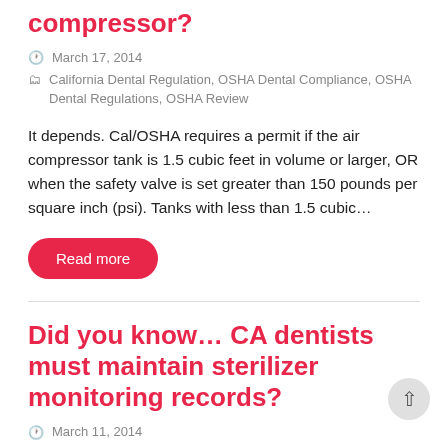compressor?
March 17, 2014
California Dental Regulation, OSHA Dental Compliance, OSHA Dental Regulations, OSHA Review
It depends. Cal/OSHA requires a permit if the air compressor tank is 1.5 cubic feet in volume or larger, OR when the safety valve is set greater than 150 pounds per square inch (psi). Tanks with less than 1.5 cubic…
Read more
Did you know… CA dentists must maintain sterilizer monitoring records?
March 11, 2014